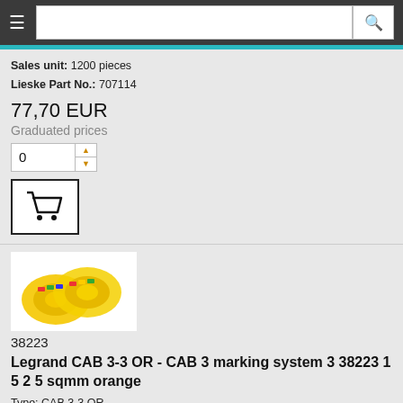Navigation header with search bar
Sales unit: 1200 pieces
Lieske Part No.: 707114
77,70 EUR
Graduated prices
[Figure (screenshot): Quantity input field with 0 and up/down arrows]
[Figure (illustration): Shopping cart button icon]
[Figure (photo): Yellow cable marking labels/tags product photo]
38223
Legrand CAB 3-3 OR - CAB 3 marking system 3 38223 1 5 2 5 sqmm orange
Type: CAB 3-3 OR
Sales unit: 1200 pc
Sales unit: 1200 pieces
Lieske Part No.: 806678
77,70 EUR
Graduated prices
[Figure (screenshot): Quantity input field with 0 and up/down arrows]